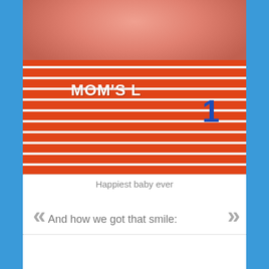[Figure (photo): A baby wearing an orange and white striped shirt that reads MOM'S with number 18, lying on a blue cloud-patterned blanket, smiling]
Happiest baby ever
And how we got that smile: